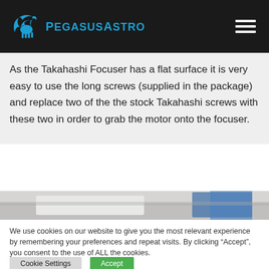PegasusAstro
As the Takahashi Focuser has a flat surface it is very easy to use the long screws (supplied in the package) and replace two of the the stock Takahashi screws with these two in order to grab the motor onto the focuser.
[Figure (photo): Partial view of a product photo showing blue packaging or component]
We use cookies on our website to give you the most relevant experience by remembering your preferences and repeat visits. By clicking “Accept”, you consent to the use of ALL the cookies.
Do not sell my personal information.